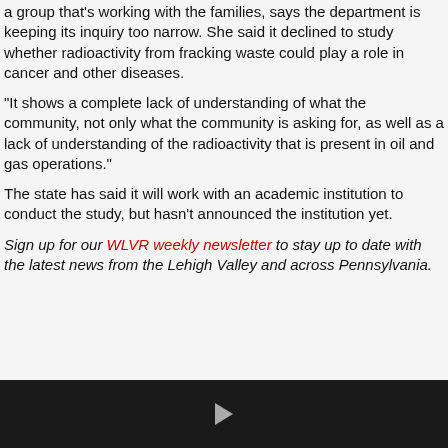a group that's working with the families, says the department is keeping its inquiry too narrow. She said it declined to study whether radioactivity from fracking waste could play a role in cancer and other diseases.
“It shows a complete lack of understanding of what the community, not only what the community is asking for, as well as a lack of understanding of the radioactivity that is present in oil and gas operations.”
The state has said it will work with an academic institution to conduct the study, but hasn’t announced the institution yet.
Sign up for our WLVR weekly newsletter to stay up to date with the latest news from the Lehigh Valley and across Pennsylvania.
[Figure (other): Dark footer bar with a play button triangle icon in the center]